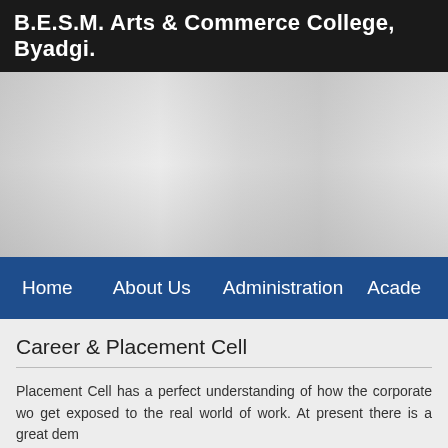B.E.S.M. Arts & Commerce College, Byadgi.
[Figure (photo): College banner/header image area, light grey background]
Home   About Us   Administration   Acade
Career & Placement Cell
Placement Cell has a perfect understanding of how the corporate wo get exposed to the real world of work. At present there is a great dem
Placement Cell provides assistance to students and ability to think Guest Lecturers etc. are regular affairs and the students get ample o